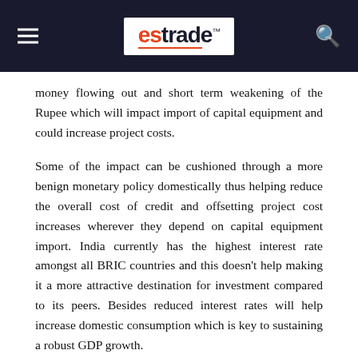estrade
money flowing out and short term weakening of the Rupee which will impact import of capital equipment and could increase project costs.
Some of the impact can be cushioned through a more benign monetary policy domestically thus helping reduce the overall cost of credit and offsetting project cost increases wherever they depend on capital equipment import. India currently has the highest interest rate amongst all BRIC countries and this doesn't help making it a more attractive destination for investment compared to its peers. Besides reduced interest rates will help increase domestic consumption which is key to sustaining a robust GDP growth.
Lastly the GST bill will be a key factor in demonstrating the capability of the country to focus beyond political